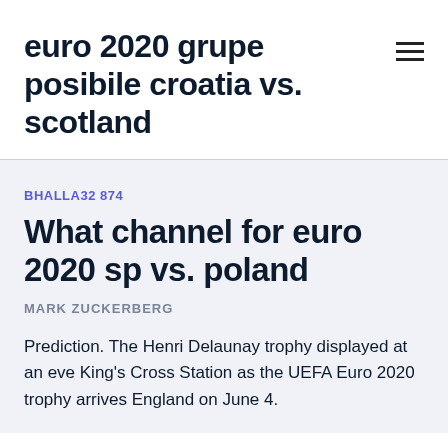euro 2020 grupe posibile croatia vs. scotland
BHALLA32874
What channel for euro 2020 sp vs. poland
MARK ZUCKERBERG
Prediction. The Henri Delaunay trophy displayed at an eve King's Cross Station as the UEFA Euro 2020 trophy arrives England on June 4.